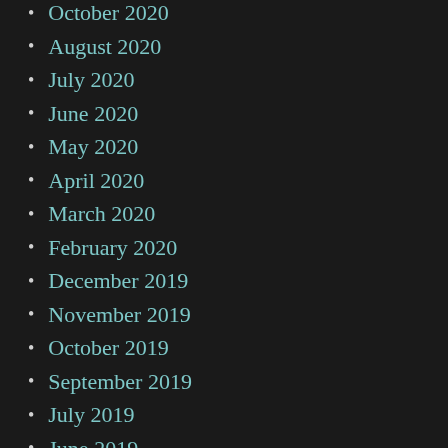October 2020
August 2020
July 2020
June 2020
May 2020
April 2020
March 2020
February 2020
December 2019
November 2019
October 2019
September 2019
July 2019
June 2019
May 2019
April 2019
March 2019